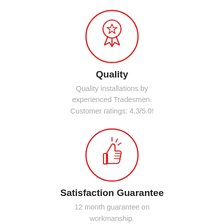[Figure (illustration): Red circle outline containing a medal/award ribbon icon with a star in the center, drawn in red outline style]
Quality
Quality installations by experienced Tradesmen. Customer ratings: 4.3/5.0!
[Figure (illustration): Red circle outline containing a thumbs up icon with sparkle lines, drawn in red outline style]
Satisfaction Guarantee
12 month guarantee on workmanship.
[Figure (illustration): Red circle outline containing a piggy bank icon, drawn in red outline style, partially cropped at bottom]